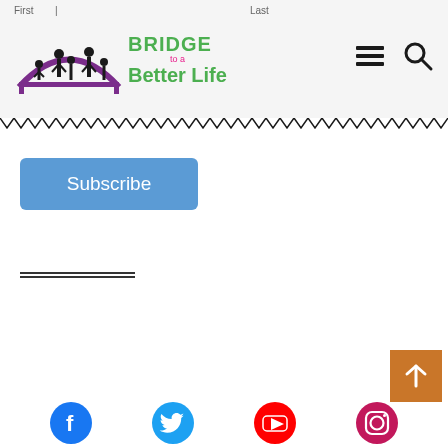First | Last
[Figure (logo): Bridge to a Better Life logo with silhouette of people on a bridge, purple arch, and green text reading BRIDGE to a Better Life]
[Figure (illustration): Hamburger menu icon and search icon in the header]
[Figure (illustration): Zigzag/dotted decorative border separating header from content]
Subscribe
[Figure (illustration): Horizontal double line divider]
[Figure (illustration): Orange back-to-top button with upward arrow]
[Figure (illustration): Social media icons row: Facebook (blue), Twitter (light blue), YouTube (red), Instagram (pink/magenta)]